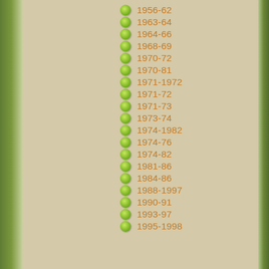1956-62
1963-64
1964-66
1968-69
1970-72
1970-81
1971-1972
1971-72
1971-73
1973-74
1974-1982
1974-76
1974-82
1981-86
1984-86
1988-1997
1990-91
1993-97
1995-1998